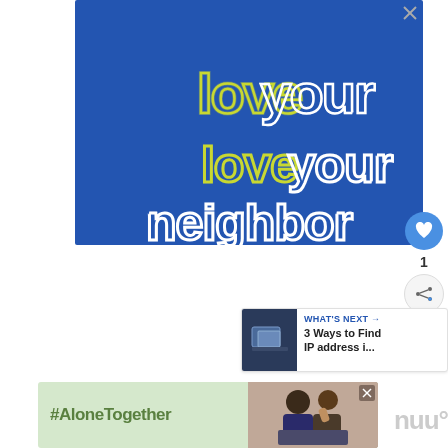[Figure (illustration): Blue advertisement banner with retro-style outlined text reading 'love your neighbor' in white and yellow-green, with tagline 'be kind, be smart, be safe; stay home']
1
[Figure (screenshot): What's Next panel showing thumbnail and title '3 Ways to Find IP address i...']
[Figure (illustration): Bottom advertisement with green background showing '#AloneTogether' hashtag and image of people on laptop]